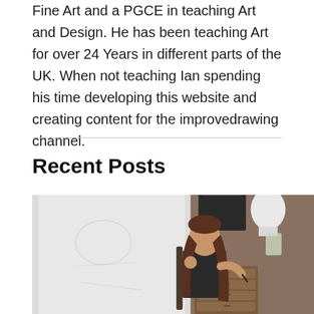Fine Art and a PGCE in teaching Art and Design. He has been teaching Art for over 24 Years in different parts of the UK. When not teaching Ian spending his time developing this website and creating content for the improvedrawing channel.
Recent Posts
[Figure (photo): A woman with long brown hair sitting in an art studio, holding a pencil and looking at a large canvas or drawing board. Art supplies and storage drawers visible in the background along with a white mannequin head.]